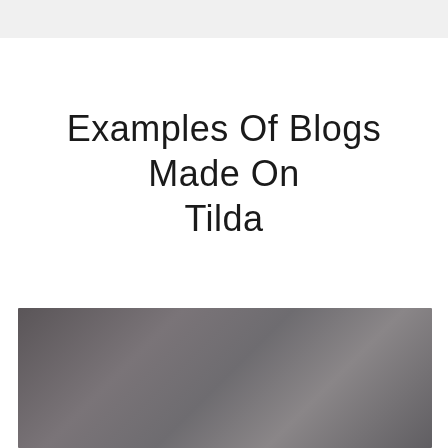Examples Of Blogs Made On Tilda
[Figure (photo): Dark grayish-brown gradient background image, partially visible at the bottom of the page]